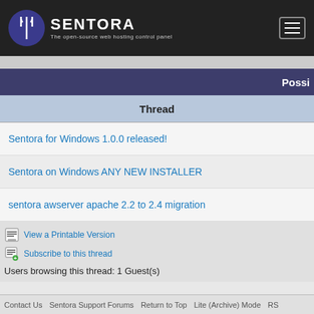[Figure (logo): Sentora logo with trident icon in blue circle and text 'SENTORA - The open-source web hosting control panel' on dark background]
Possi
Thread
Sentora for Windows 1.0.0 released!
Sentora on Windows ANY NEW INSTALLER
sentora awserver apache 2.2 to 2.4 migration
View a Printable Version
Subscribe to this thread
Users browsing this thread: 1 Guest(s)
Contact Us   Sentora Support Forums   Return to Top   Lite (Archive) Mode   RS